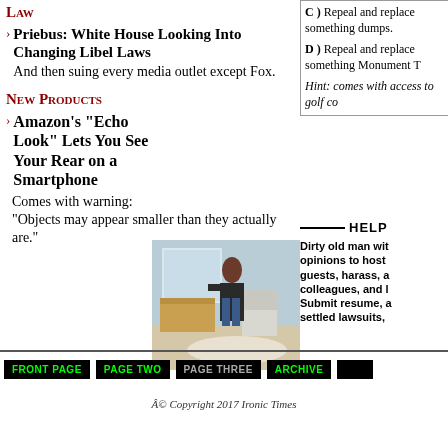Law
Priebus: White House Looking Into Changing Libel Laws
And then suing every media outlet except Fox.
New Products
Amazon's "Echo Look" Lets You See Your Rear on a Smartphone
Comes with warning: "Objects may appear smaller than they actually are."
[Figure (photo): Woman in a bedroom/office setting, standing near a desk and chair]
C ) Repeal and [replace something]. dumps.
D ) Repeal and [replace something]. Monument [?]
Hint: comes with [something] access to golf co[urse]
HELP
Dirty old man with opinions to host guests, harass, a colleagues, and l Submit resume, a settled lawsuits,
FRONT PAGE   PAGE TWO   PAGE THREE   ARCHIVE
© Copyright 2017 Ironic Times